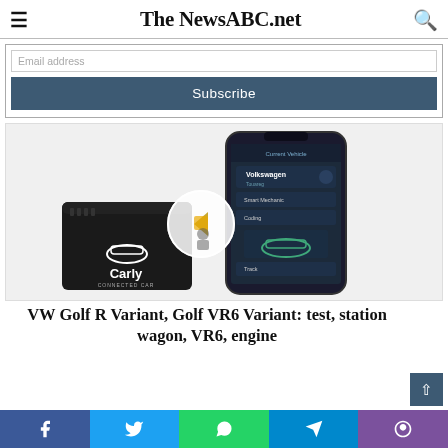The NewsABC.net
Subscribe
[Figure (photo): Carly Connected Car OBD device in front of a smartphone showing the Carly app with Volkswagen vehicle info screen. A circular navigation arrow overlay is visible in the center.]
VW Golf R Variant, Golf VR6 Variant: test, station wagon, VR6, engine
Facebook  Twitter  WhatsApp  Telegram  Viber